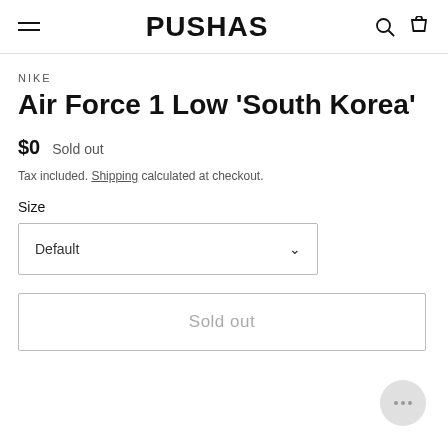PUSHAS
NIKE
Air Force 1 Low 'South Korea'
$0   Sold out
Tax included. Shipping calculated at checkout.
Size
Default
Sold out